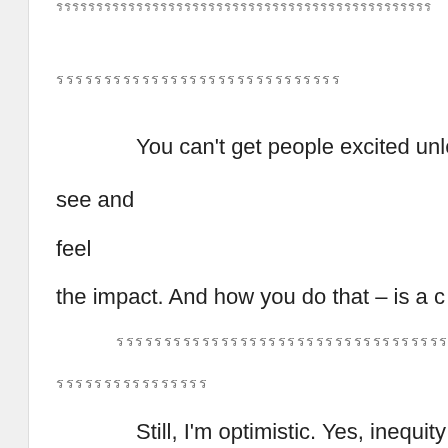รรรรรรรรรรรรรรรรรรรรรรรรรรรรรรรรรรรรรรรรรรรรร
รรรรรรรรรรรรรรรรรรรรรรรรรรรรรร
You can’t get people excited unless see and feel the impact. And how you do that – is a c
รรรรรรรรรรรรรรรรรรรรรรรรรรรรรรรรรรร
รรรรรรรรรรรรรรรร
Still, I’m optimistic. Yes, inequity forever, but the new tools we have to cut through been with us
fo